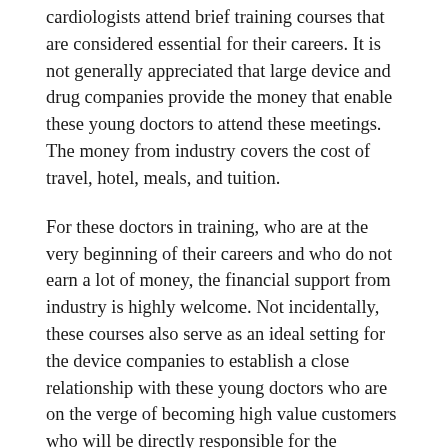cardiologists attend brief training courses that are considered essential for their careers. It is not generally appreciated that large device and drug companies provide the money that enable these young doctors to attend these meetings. The money from industry covers the cost of travel, hotel, meals, and tuition.
For these doctors in training, who are at the very beginning of their careers and who do not earn a lot of money, the financial support from industry is highly welcome. Not incidentally, these courses also serve as an ideal setting for the device companies to establish a close relationship with these young doctors who are on the verge of becoming high value customers who will be directly responsible for the purchase of millions of dollars of medical devices like cardiac stents.
Industry does not give the money directly to the young doctors. Instead, the money goes from companies to nonprofit medical organizations who organize the courses. One such organization is the Cardiovascular Research Foundation (CRF) bo fo th...